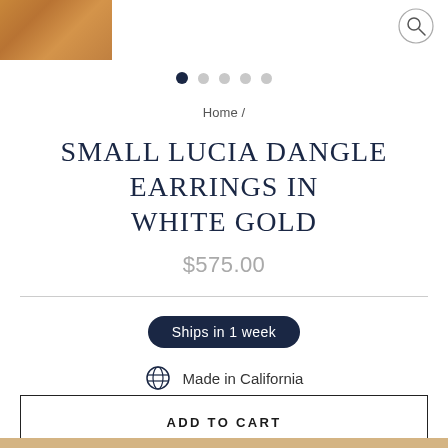[Figure (photo): Wood texture product image in top left corner]
[Figure (other): Search icon (magnifying glass) in circle, top right]
[Figure (other): Carousel navigation dots: 5 dots, first dot active (dark navy), rest gray]
Home /
SMALL LUCIA DANGLE EARRINGS IN WHITE GOLD
$575.00
Ships in 1 week
Made in California
ADD TO CART